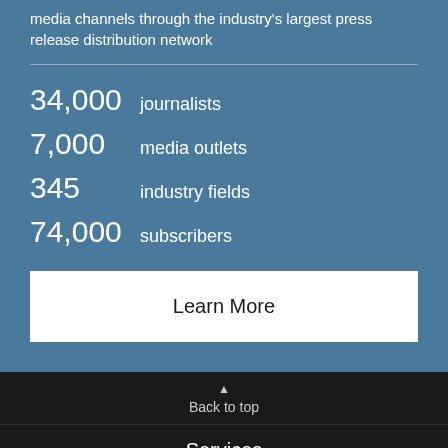media channels through the industry's largest press release distribution network
34,000  journalists
7,000  media outlets
345  industry fields
74,000  subscribers
Learn More
Back to top
Services
News
Contact Us